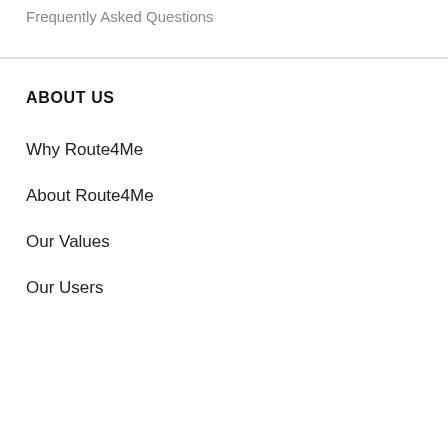Frequently Asked Questions
ABOUT US
Why Route4Me
About Route4Me
Our Values
Our Users